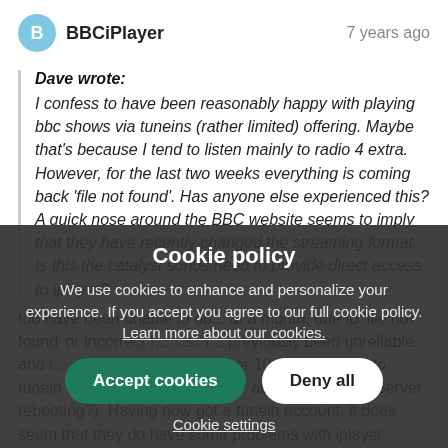BBCiPlayer  7 years ago
Dave wrote: I confess to have been reasonably happy with playing bbc shows via tuneins (rather limited) offering. Maybe that's because I tend to listen mainly to radio 4 extra. However, for the last two weeks everything is coming back 'file not found'. Has anyone else experienced this? A quick nose around the BBC website seems to imply that they have recently changed the streaming format. Is this the catalyst sonos need to provide direct access to iplayer?
too have been unable to do ... at a month, due to 'file not found' or incorrect f... ... s. T... previously been unreliable, and i... ... guarantee it will be 9 or 10am GM... ... ... ... ... ... to tunein (via sonos) won't work for about 5 minutes (Server rebooting?). Having now got a tunein account, it does seem that they do have some problems with iplayer content, but there doesn't seem to be...
Cookie policy
We use cookies to enhance and personalize your experience. If you accept you agree to our full cookie policy. Learn more about our cookies.
Accept cookies
Deny all
Cookie settings